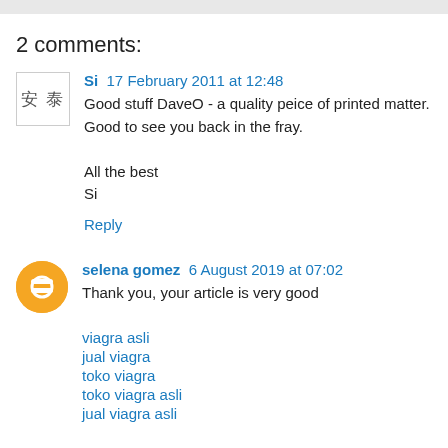2 comments:
Si  17 February 2011 at 12:48
Good stuff DaveO - a quality peice of printed matter. Good to see you back in the fray.

All the best
Si

Reply
selena gomez  6 August 2019 at 07:02
Thank you, your article is very good

viagra asli
jual viagra
toko viagra
toko viagra asli
jual viagra asli